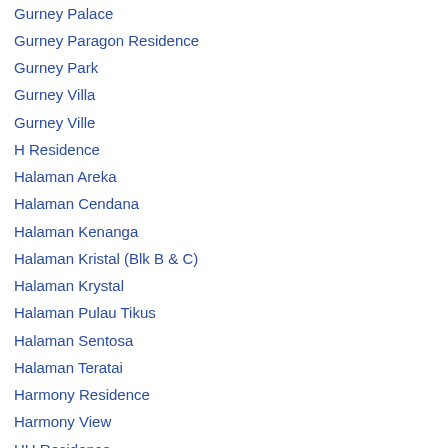Gurney Palace
Gurney Paragon Residence
Gurney Park
Gurney Villa
Gurney Ville
H Residence
Halaman Areka
Halaman Cendana
Halaman Kenanga
Halaman Kristal (Blk B & C)
Halaman Krystal
Halaman Pulau Tikus
Halaman Sentosa
Halaman Teratai
Harmony Residence
Harmony View
HH Residence
Hillcrest Residences